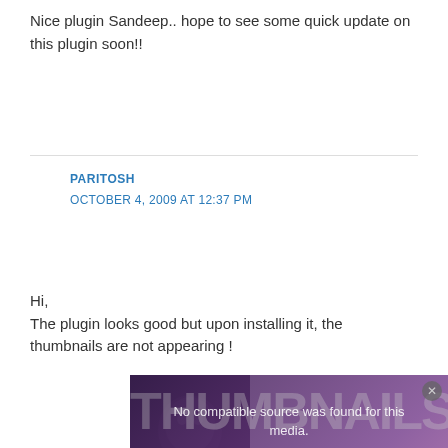Nice plugin Sandeep.. hope to see some quick update on this plugin soon!!
PARITOSH
OCTOBER 4, 2009 AT 12:37 PM
Hi,
The plugin looks good but upon installing it, the thumbnails are not appearing !
[Figure (screenshot): Video player overlay showing 'No compatible source was found for this media.' with a broken video icon (X in circle), overlaid on a purple background with large watermark text 'THUMBNAILS MATTER!' and a person's face visible on the left. Bottom shows vidio and YouTube logos.]
BEST ON TUBE
OCTOBER 5, 2009 AT 2:24 AM
[Figure (screenshot): Men's Wearhouse advertisement with 'New Lower Prices' tagline showing a suit for $69.99.]